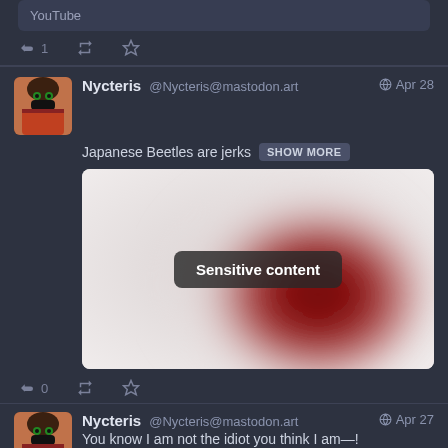[Figure (screenshot): Top of page showing a snippet box with 'YouTube' text and action bar with reply (1), retweet, and star icons]
YouTube
1
Nycteris @Nycteris@mastodon.art  Apr 28
Japanese Beetles are jerks SHOW MORE
[Figure (photo): Blurred sensitive content image with dark red blob on light background and 'Sensitive content' label overlay]
Sensitive content
0
Nycteris @Nycteris@mastodon.art  Apr 27
You know I am not the idiot you think I am—!